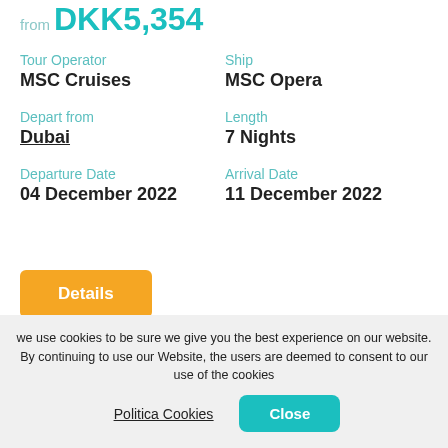from DKK5,354
Tour Operator
MSC Cruises
Ship
MSC Opera
Depart from
Dubai
Length
7 Nights
Departure Date
04 December 2022
Arrival Date
11 December 2022
Details
[Figure (logo): MSC Crociere logo with sunburst emblem and text MSC CROCIERE]
we use cookies to be sure we give you the best experience on our website. By continuing to use our Website, the users are deemed to consent to our use of the cookies
Politica Cookies
Close